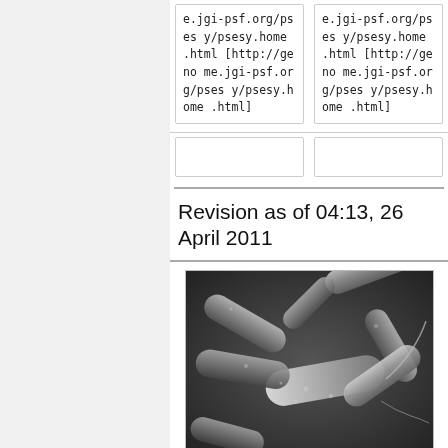| e.jgi-psf.org/psesy/psesy.home.html [http://genome.jgi-psf.org/psesy/psesy.home.html] | e.jgi-psf.org/psesy/psesy.home.html [http://genome.jgi-psf.org/psesy/psesy.home.html] |
Revision as of 04:13, 26 April 2011
[Figure (photo): Scanning electron microscope image of rod-shaped bacteria (Pseudomonas syringae or similar), grayscale, showing multiple elongated bacterial cells clustered together, some with appendages.]